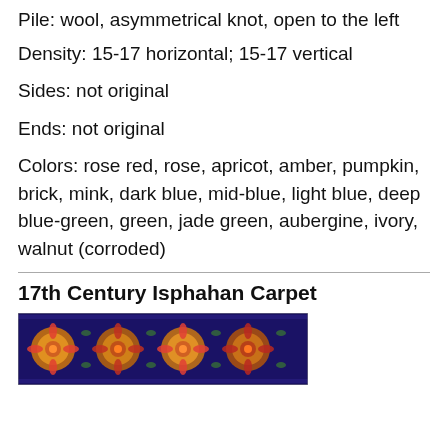Pile: wool, asymmetrical knot, open to the left
Density: 15-17 horizontal; 15-17 vertical
Sides: not original
Ends: not original
Colors: rose red, rose, apricot, amber, pumpkin, brick, mink, dark blue, mid-blue, light blue, deep blue-green, green, jade green, aubergine, ivory, walnut (corroded)
17th Century Isphahan Carpet
[Figure (photo): Photograph of a 17th Century Isphahan Carpet showing dark blue background with colorful floral medallion patterns in orange, yellow, and red tones.]